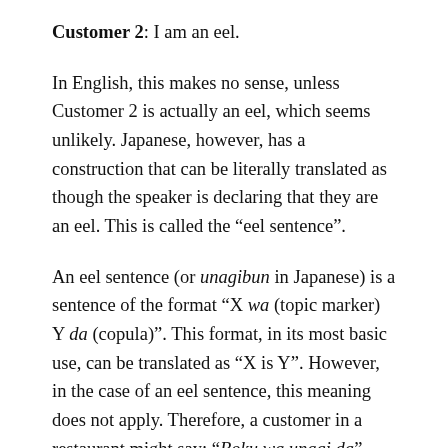Customer 2: I am an eel.
In English, this makes no sense, unless Customer 2 is actually an eel, which seems unlikely. Japanese, however, has a construction that can be literally translated as though the speaker is declaring that they are an eel. This is called the “eel sentence”.
An eel sentence (or unagibun in Japanese) is a sentence of the format “X wa (topic marker) Y da (copula)”. This format, in its most basic use, can be translated as “X is Y”. However, in the case of an eel sentence, this meaning does not apply. Therefore, a customer in a restaurant might say: “Boku wa unagi da”, with X = boku